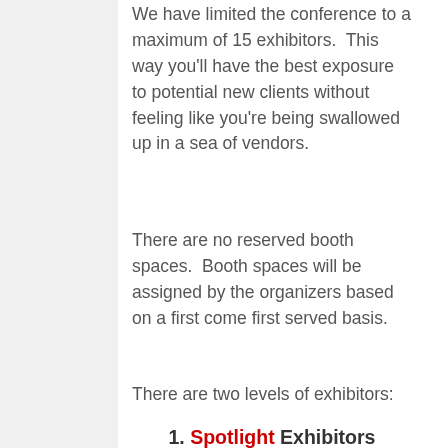We have limited the conference to a maximum of 15 exhibitors.  This way you'll have the best exposure to potential new clients without feeling like you're being swallowed up in a sea of vendors.
There are no reserved booth spaces.  Booth spaces will be assigned by the organizers based on a first come first served basis.
There are two levels of exhibitors:
1. Spotlight Exhibitors
2. Regular Exhibitors